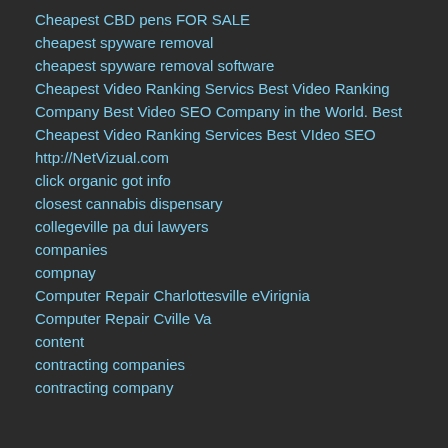Cheapest CBD pens FOR SALE
cheapest spyware removal
cheapest spyware removal software
Cheapest Video Ranking Servics Best Video Ranking
Company Best Video SEO Company in the World. Best
Cheapest Video Ranking Services Best VIdeo SEO
http://NetVizual.com
click organic got info
closest cannabis dispensary
collegeville pa dui lawyers
companies
compnay
Computer Repair Charlottesville eVirignia
Computer Repair Cville Va
content
contracting companies
contracting company